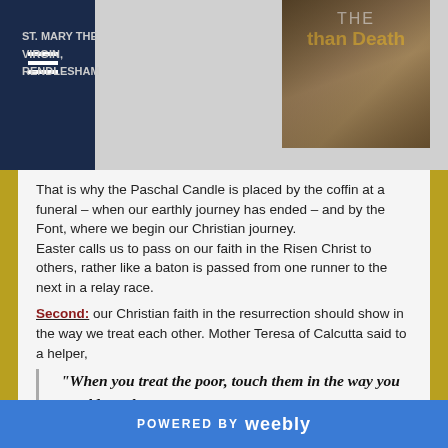ST. MARY THE VIRGIN, RENDLESHAM
[Figure (photo): Book cover showing 'THE than Death' text over a dark photographic background]
That is why the Paschal Candle is placed by the coffin at a funeral – when our earthly journey has ended – and by the Font, where we begin our Christian journey.
Easter calls us to pass on our faith in the Risen Christ to others, rather like a baton is passed from one runner to the next in a relay race.
Second: our Christian faith in the resurrection should show in the way we treat each other. Mother Teresa of Calcutta said to a helper,
“When you treat the poor, touch them in the way you would touch
POWERED BY weebly